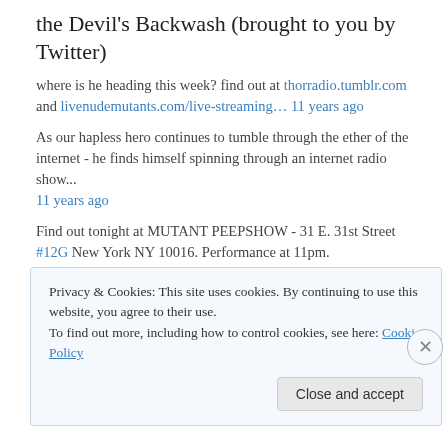the Devil's Backwash (brought to you by Twitter)
where is he heading this week? find out at thorradio.tumblr.com and livenudemutants.com/live-streaming… 11 years ago
As our hapless hero continues to tumble through the ether of the internet - he finds himself spinning through an internet radio show... 11 years ago
Find out tonight at MUTANT PEEPSHOW - 31 E. 31st Street #12G New York NY 10016. Performance at 11pm. https://saturdaysinthedark.com/ 11 years ago
Where is he heading? What is happening to him? 11 years ago
Privacy & Cookies: This site uses cookies. By continuing to use this website, you agree to their use. To find out more, including how to control cookies, see here: Cookie Policy